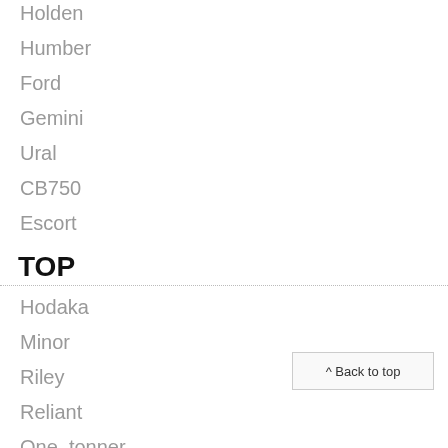Holden
Humber
Ford
Gemini
Ural
CB750
Escort
TOP
Hodaka
Minor
Riley
Reliant
One_tonner
Suzuki
Mazda
^ Back to top